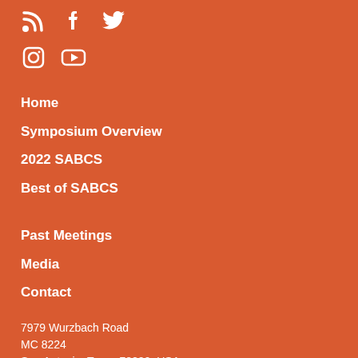[Figure (illustration): Social media icons row 1: RSS feed icon, Facebook icon, Twitter icon (white on orange background)]
[Figure (illustration): Social media icons row 2: Instagram icon, YouTube icon (white on orange background)]
Home
Symposium Overview
2022 SABCS
Best of SABCS
Past Meetings
Media
Contact
7979 Wurzbach Road
MC 8224
San Antonio, Texas 78229, USA